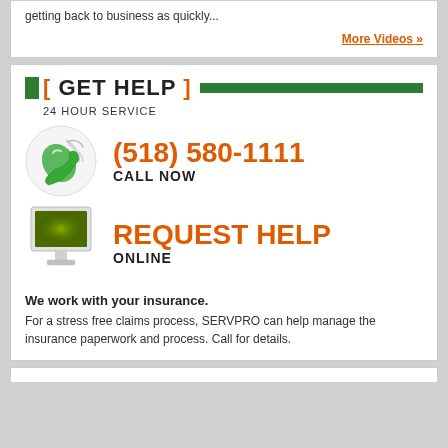getting back to business as quickly...
More Videos »
[ GET HELP ] 24 HOUR SERVICE
[Figure (illustration): Green phone handset with wifi signal waves icon in circular frame]
(518) 580-1111 CALL NOW
[Figure (illustration): Computer monitor with green glowing screen icon]
REQUEST HELP ONLINE
We work with your insurance.
For a stress free claims process, SERVPRO can help manage the insurance paperwork and process. Call for details.